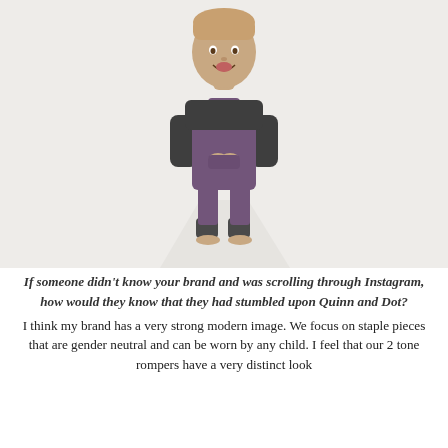[Figure (photo): A young smiling child standing against a white background, wearing a purple two-tone romper over a dark grey long-sleeve shirt and dark grey cuffed leggings, barefoot.]
If someone didn't know your brand and was scrolling through Instagram, how would they know that they had stumbled upon Quinn and Dot?
I think my brand has a very strong modern image. We focus on staple pieces that are gender neutral and can be worn by any child. I feel that our 2 tone rompers have a very distinct look